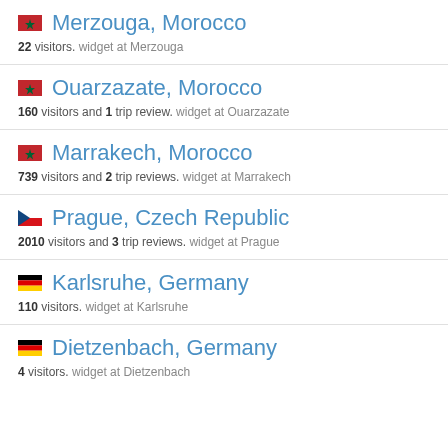Merzouga, Morocco — 22 visitors. widget at Merzouga
Ouarzazate, Morocco — 160 visitors and 1 trip review. widget at Ouarzazate
Marrakech, Morocco — 739 visitors and 2 trip reviews. widget at Marrakech
Prague, Czech Republic — 2010 visitors and 3 trip reviews. widget at Prague
Karlsruhe, Germany — 110 visitors. widget at Karlsruhe
Dietzenbach, Germany — 4 visitors. widget at Dietzenbach